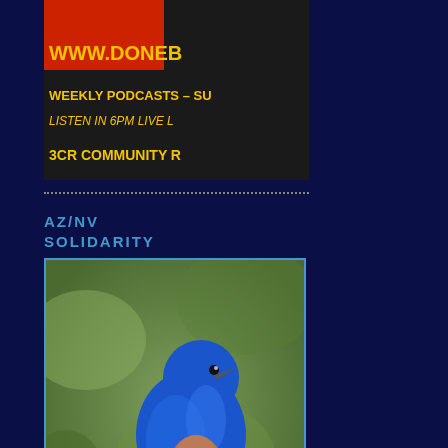[Figure (photo): Partially cropped banner image with yellow text: WWW.DONEB, WEEKLY PODCASTS - SU, LISTEN IN 6PM LIVE L, 3CR COMMUNITY R, on dark background with red/orange icon at top]
AZ/NV SOLIDARITY
[Figure (photo): Photo of a blue bird (bluebird) perched on a branch with watermark text 'NevadaPrisonWat' visible in the lower left corner]
Support Arizona Prison Watch's Sister Site in Nevada
OTHER GOOD LINKS